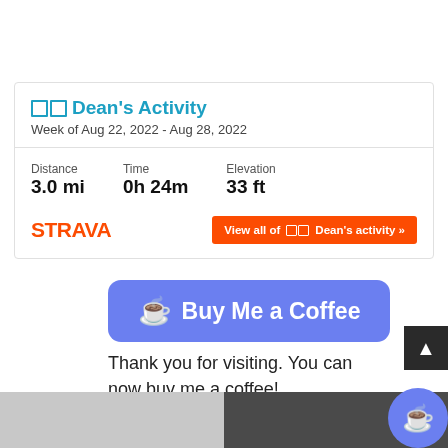[Figure (screenshot): Strava weekly activity card for Dean showing distance 3.0 mi, time 0h 24m, elevation 33 ft, with a View all of Dean's activity button]
[Figure (infographic): Buy Me a Coffee button (blue/purple rounded rectangle with coffee cup icon)]
Thank you for visiting. You can now buy me a coffee!
The Bes